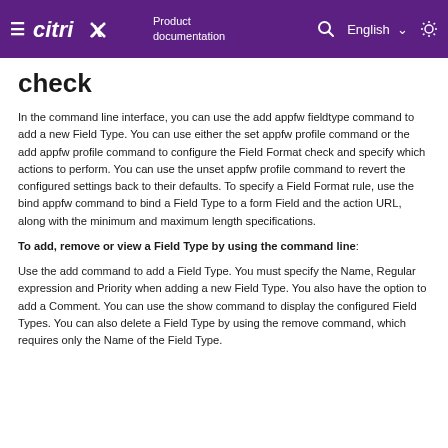Citrix Product documentation | English
check
In the command line interface, you can use the add appfw fieldtype command to add a new Field Type. You can use either the set appfw profile command or the add appfw profile command to configure the Field Format check and specify which actions to perform. You can use the unset appfw profile command to revert the configured settings back to their defaults. To specify a Field Format rule, use the bind appfw command to bind a Field Type to a form Field and the action URL, along with the minimum and maximum length specifications.
To add, remove or view a Field Type by using the command line:
Use the add command to add a Field Type. You must specify the Name, Regular expression and Priority when adding a new Field Type. You also have the option to add a Comment. You can use the show command to display the configured Field Types. You can also delete a Field Type by using the remove command, which requires only the Name of the Field Type.